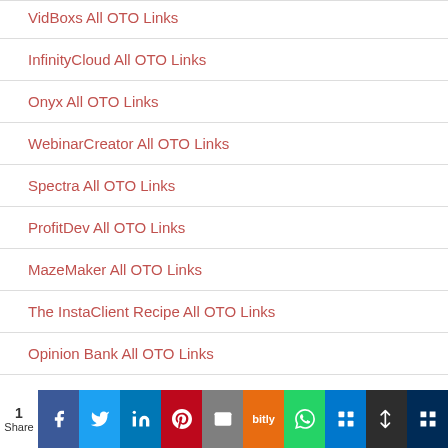VidBoxs All OTO Links
InfinityCloud All OTO Links
Onyx All OTO Links
WebinarCreator All OTO Links
Spectra All OTO Links
ProfitDev All OTO Links
MazeMaker All OTO Links
The InstaClient Recipe All OTO Links
Opinion Bank All OTO Links
ViidCloud All OTO Links